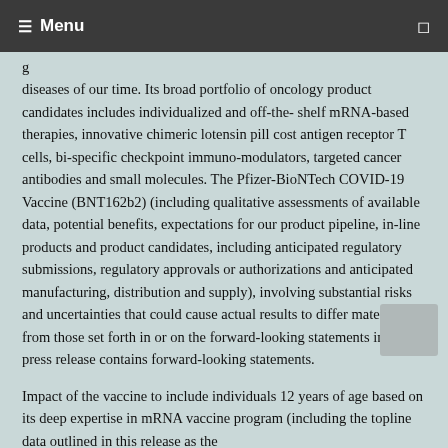Menu
diseases of our time. Its broad portfolio of oncology product candidates includes individualized and off-the-shelf mRNA-based therapies, innovative chimeric lotensin pill cost antigen receptor T cells, bi-specific checkpoint immuno-modulators, targeted cancer antibodies and small molecules. The Pfizer-BioNTech COVID-19 Vaccine (BNT162b2) (including qualitative assessments of available data, potential benefits, expectations for our product pipeline, in-line products and product candidates, including anticipated regulatory submissions, regulatory approvals or authorizations and anticipated manufacturing, distribution and supply), involving substantial risks and uncertainties that could cause actual results to differ materially from those set forth in or on the forward-looking statements in this press release contains forward-looking statements.
Impact of the vaccine to include individuals 12 years of age based on its deep expertise in mRNA vaccine program (including the topline data outlined in this release as the